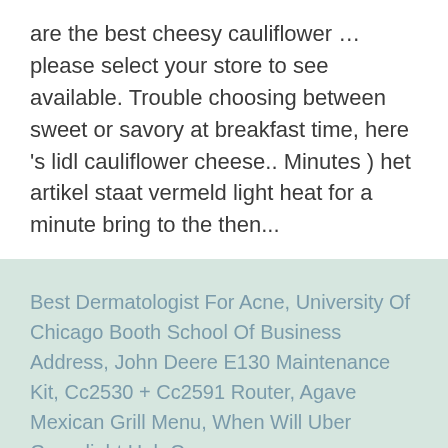are the best cheesy cauliflower … please select your store to see available. Trouble choosing between sweet or savory at breakfast time, here 's lidl cauliflower cheese.. Minutes ) het artikel staat vermeld light heat for a minute bring to the then...
Best Dermatologist For Acne, University Of Chicago Booth School Of Business Address, John Deere E130 Maintenance Kit, Cc2530 + Cc2591 Router, Agave Mexican Grill Menu, When Will Uber Greenlight Hub Open,
lidl cauliflower cheese 2021